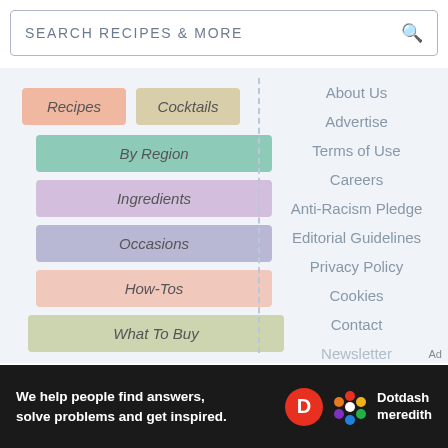SEARCH RECIPES & MORE
Recipes
Cocktails
By Region
Ingredients
Occasions
How-Tos
What To Buy
About Us
Advertise
Terms of Use
Careers
Anti-Racism Pledge
Editorial Guidelines
Privacy Policy
Cookies
Contact
Newsletter
We help people find answers, solve problems and get inspired.
D Dotdash meredith
Ad